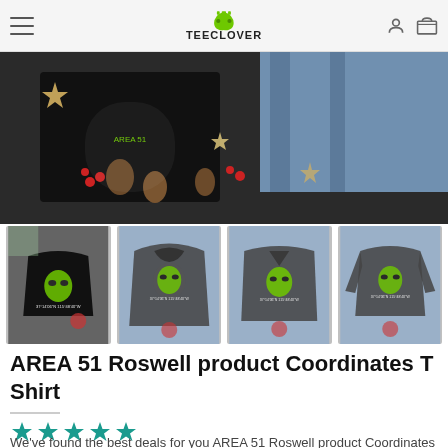TEECLOVER
[Figure (photo): Hero banner showing black sweatshirt and jeans laid flat with holiday decorations including pine cones, berries, and star ornaments]
[Figure (photo): Four thumbnail images of Area 51 Roswell Coordinates T-shirt products: black crewneck sweatshirt, dark hoodie, dark v-neck t-shirt, and dark long-sleeve shirt, each featuring a green alien face graphic]
AREA 51 Roswell product Coordinates T Shirt
[Figure (other): Five filled star rating icons in teal/green color]
We've found the best deals for you AREA 51 Roswell product Coordinates T Shirt